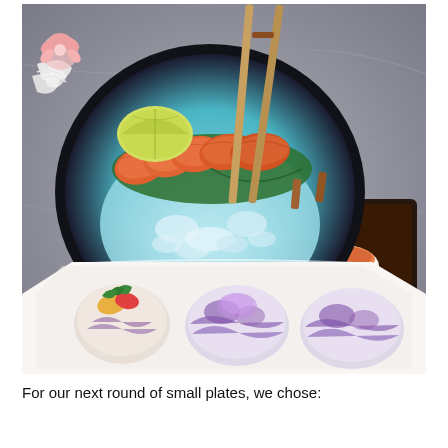[Figure (photo): A photograph of Japanese sushi and sashimi dishes on a table. In the center is a round dark blue ceramic plate with crushed ice, topped with 5 slices of salmon sashimi and a lime wedge, garnished with shredded daikon and pink ginger flower, with chopsticks resting on top. To the bottom-right is a dark square plate with a piece of salmon nigiri sushi. In the foreground is a white rectangular plate with three pieces of temari sushi balls decorated with colorful toppings including vegetables and seaweed.]
For our next round of small plates, we chose: